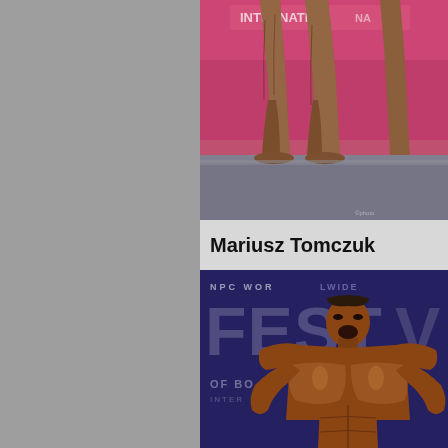[Figure (photo): Close-up photo of a bodybuilder's legs on a competition stage with pink/magenta background and competition branding visible at top]
Mariusz Tomczuk
[Figure (photo): Photo of a muscular bodybuilder posing and screaming at NPC Worldwide Festival of Bodybuilding competition, shown from waist up with very muscular physique]